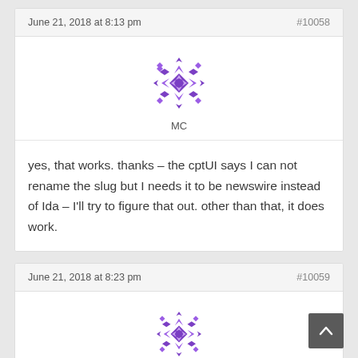June 21, 2018 at 8:13 pm   #10058
[Figure (illustration): Purple geometric snowflake/mandala avatar icon with initials MC below]
yes, that works. thanks – the cptUI says I can not rename the slug but I needs it to be newswire instead of Ida – I'll try to figure that out. other than that, it does work.
June 21, 2018 at 8:23 pm   #10059
[Figure (illustration): Purple geometric snowflake/mandala avatar icon (partially visible)]